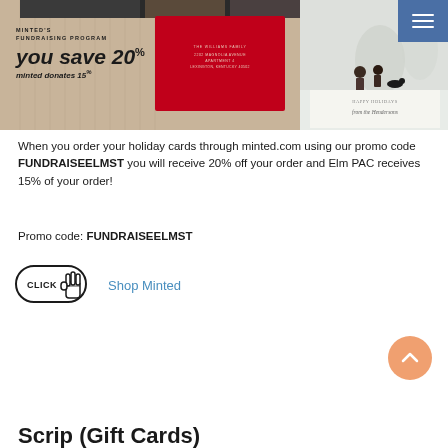[Figure (photo): Minted fundraising program banner with holiday cards, red envelope, snow scene photo, and menu button. Shows 'you save 20%' and 'minted donates 15%' text.]
When you order your holiday cards through minted.com using our promo code FUNDRAISEELMST you will receive 20% off your order and Elm PAC receives 15% of your order!
Promo code: FUNDRAISEELMST
[Figure (illustration): Click button icon with pointing hand cursor, and 'Shop Minted' link text beside it]
[Figure (illustration): Orange circular back-to-top arrow button]
Scrip (Gift Cards)